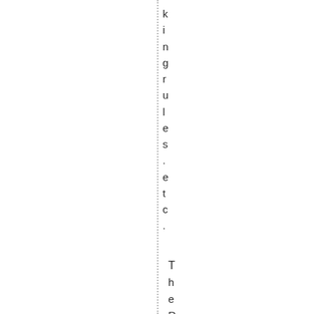kingrules .etc. The RSO redetermi